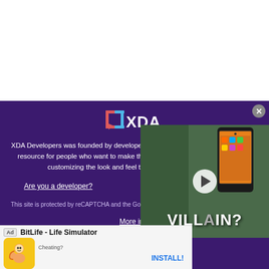[Figure (logo): XDA Developers logo with bracket and speech bubble icons in red and blue followed by 'XDA' text]
XDA Developers was founded by developers, for developers. It is now a valuable resource for people who want to make the most of their mobile devices, from customizing the look and feel to adding new functionality.
Are you a developer?
This site is protected by reCAPTCHA and the Goo...
[Figure (screenshot): Video overlay showing a smartphone and the text VILLAIN? with a play button]
More info
Co... ...ty
[Figure (infographic): Ad banner for BitLife - Life Simulator app with yellow icon showing a flexing arm cartoon. Shows 'Ad' label, app name, and INSTALL! button.]